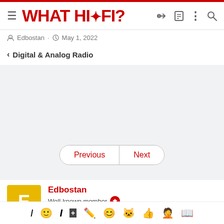WHAT HI-FI?
Edbostan · May 1, 2022
< Digital & Analog Radio
[Figure (screenshot): Empty grey content area for forum post]
Previous  Next
Edbostan
Well-known member
Aug 5, 2021  223  111  970